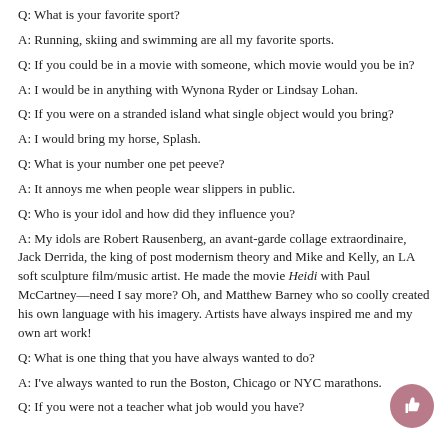Q: What is your favorite sport?
A: Running, skiing and swimming are all my favorite sports.
Q: If you could be in a movie with someone, which movie would you be in?
A: I would be in anything with Wynona Ryder or Lindsay Lohan.
Q: If you were on a stranded island what single object would you bring?
A: I would bring my horse, Splash.
Q: What is your number one pet peeve?
A: It annoys me when people wear slippers in public.
Q: Who is your idol and how did they influence you?
A: My idols are Robert Rausenberg, an avant-garde collage extraordinaire, Jack Derrida, the king of post modernism theory and Mike and Kelly, an LA soft sculpture film/music artist. He made the movie Heidi with Paul McCartney—need I say more? Oh, and Matthew Barney who so coolly created his own language with his imagery. Artists have always inspired me and my own art work!
Q: What is one thing that you have always wanted to do?
A: I've always wanted to run the Boston, Chicago or NYC marathons.
Q: If you were not a teacher what job would you have?